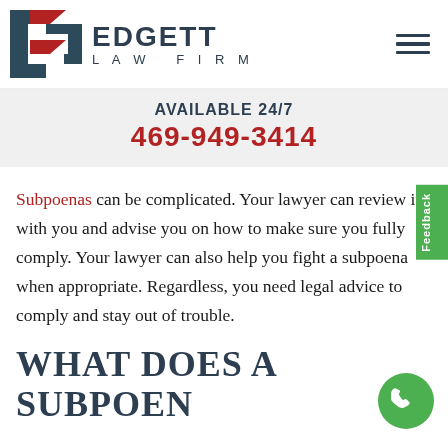[Figure (logo): Edgett Law Firm logo with red and dark blue geometric arrow/chevron shapes and firm name text]
AVAILABLE 24/7
469-949-3414
Subpoenas can be complicated. Your lawyer can review it with you and advise you on how to make sure you fully comply. Your lawyer can also help you fight a subpoena when appropriate. Regardless, you need legal advice to comply and stay out of trouble.
WHAT DOES A SUBPOE...